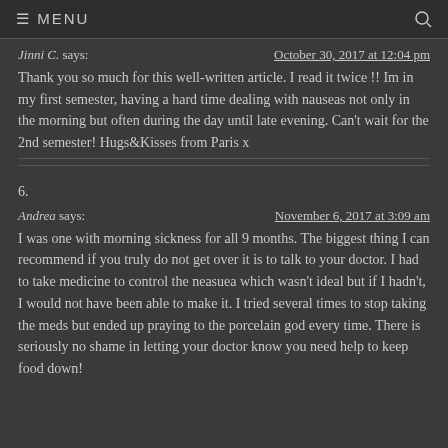≡ MENU
Jinni C. says:
October 30, 2017 at 12:04 pm
Thank you so much for this well-written article. I read it twice !! Im in my first semester, having a hard time dealing with nauseas not only in the morning but often during the day until late evening. Can't wait for the 2nd semester! Hugs&Kisses from Paris x
6.
Andrea says:
November 6, 2017 at 3:09 am
I was one with morning sickness for all 9 months. The biggest thing I can recommend if you truly do not get over it is to talk to your doctor. I had to take medicine to control the neasuea which wasn't ideal but if I hadn't, I would not have been able to make it. I tried several times to stop taking the meds but ended up praying to the porcelain god every time. There is seriously no shame in letting your doctor know you need help to keep food down!